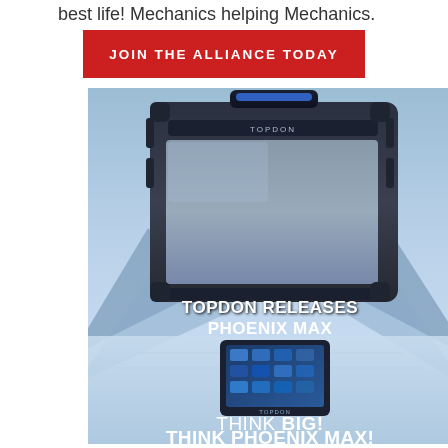best life! Mechanics helping Mechanics.
JOIN THE ALLIANCE TODAY
[Figure (photo): Advertisement for TOPDON Phoenix Max automotive diagnostic tool. Large rugged tablet with blue handle shown prominently against icy blue mountain background. A smaller TOPDON tablet shown in a stand below. Text overlaid reads 'TOPDON RELEASES PHOENIX MAX' and at the bottom 'THINK BIG! THINK PHOENIX MAX!']